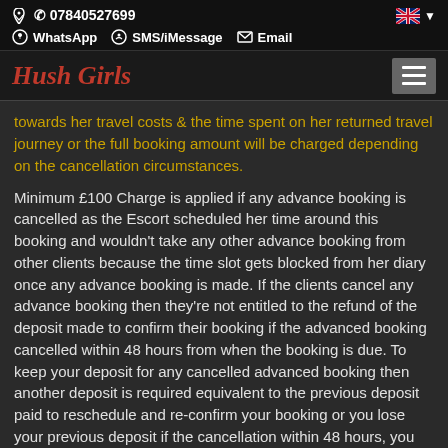07840527699  WhatsApp  SMS/iMessage  Email
Hush Girls
towards her travel costs & the time spent on her returned travel journey or the full booking amount will be charged depending on the cancellation circumstances.
Minimum £100 Charge is applied if any advance booking is cancelled as the Escort scheduled her time around this booking and wouldn't take any other advance booking from other clients because the time slot gets blocked from her diary once any advance booking is made. If the clients cancel any advance booking then they're not entitled to the refund of the deposit made to confirm their booking if the advanced booking cancelled within 48 hours from when the booking is due. To keep your deposit for any cancelled advanced booking then another deposit is required equivalent to the previous deposit paid to reschedule and re-confirm your booking or you lose your previous deposit if the cancellation within 48 hours, you can reschedule an existing advance booking by given enough notice more than 48 hours before